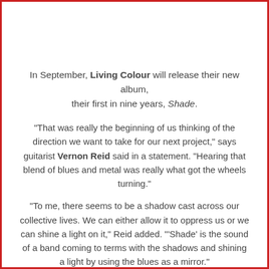In September, Living Colour will release their new album, their first in nine years, Shade.
"That was really the beginning of us thinking of the direction we want to take for our next project," says guitarist Vernon Reid said in a statement. "Hearing that blend of blues and metal was really what got the wheels turning."
"To me, there seems to be a shadow cast across our collective lives. We can either allow it to oppress us or we can shine a light on it," Reid added. "'Shade' is the sound of a band coming to terms with the shadows and shining a light by using the blues as a mirror."
Read Our 2009 Interview with Living Colour
"What better way to tell the world they are the real the...